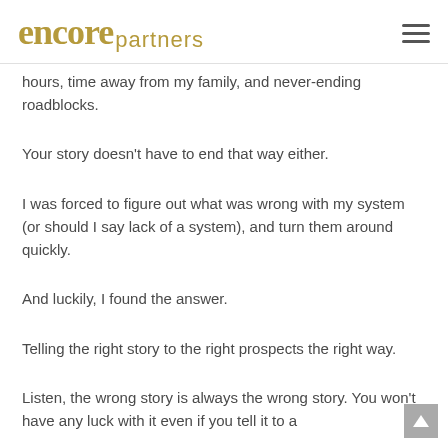encore partners
hours, time away from my family, and never-ending roadblocks.
Your story doesn't have to end that way either.
I was forced to figure out what was wrong with my system (or should I say lack of a system), and turn them around quickly.
And luckily, I found the answer.
Telling the right story to the right prospects the right way.
Listen, the wrong story is always the wrong story. You won't have any luck with it even if you tell it to a